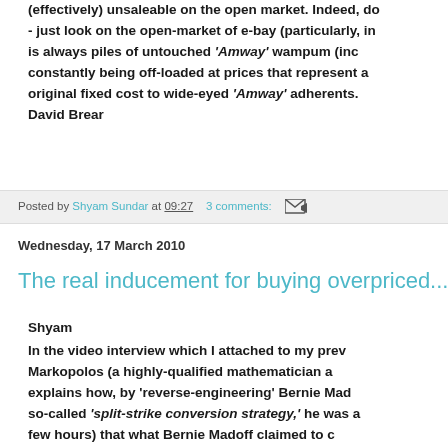(effectively) unsaleable on the open market. Indeed, do - just look on the open-market of e-bay (particularly, in is always piles of untouched 'Amway' wampum (inc constantly being off-loaded at prices that represent a original fixed cost to wide-eyed 'Amway' adherents. David Brear
Posted by Shyam Sundar at 09:27   3 comments:
Wednesday, 17 March 2010
The real inducement for buying overpriced...
Shyam
In the video interview which I attached to my prev Markopolos (a highly-qualified mathematician a explains how, by 'reverse-engineering' Bernie Mad so-called 'split-strike conversion strategy,' he was a few hours) that what Bernie Madoff claimed to c 'investors' (i.e.'perpetual profits') was a seducti